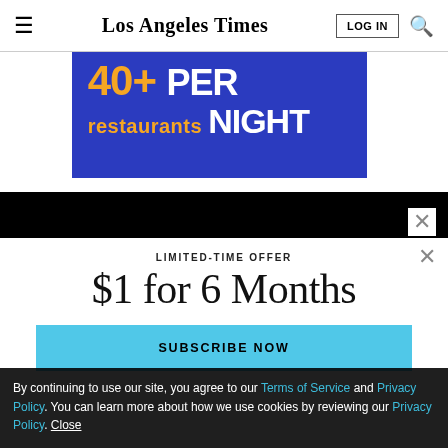Los Angeles Times — LOG IN | Search
[Figure (other): Blue advertisement banner showing '40+ restaurants PER NIGHT' text in yellow and white on blue background]
[Figure (other): Black bar / navigation area]
LIMITED-TIME OFFER
$1 for 6 Months
SUBSCRIBE NOW
By continuing to use our site, you agree to our Terms of Service and Privacy Policy. You can learn more about how we use cookies by reviewing our Privacy Policy. Close